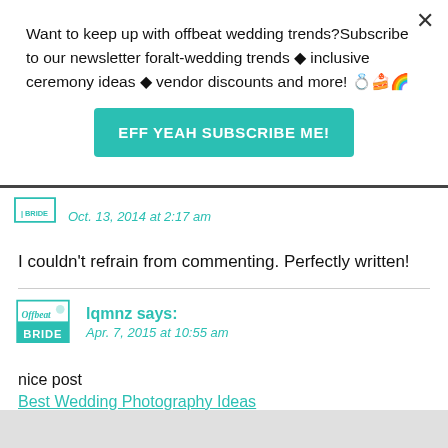Want to keep up with offbeat wedding trends?Subscribe to our newsletter for⁠alt-wedding trends • inclusive ceremony ideas • vendor discounts and more! 💍🍰🌈
EFF YEAH SUBSCRIBE ME!
Oct. 13, 2014 at 2:17 am
I couldn't refrain from commenting. Perfectly written!
lqmnz says:
Apr. 7, 2015 at 10:55 am
nice post
Best Wedding Photography Ideas